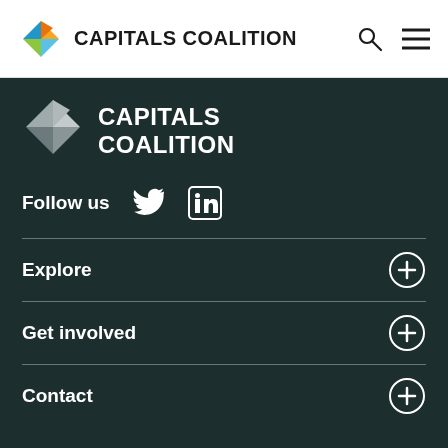CAPITALS COALITION
[Figure (logo): Capitals Coalition colorful diamond logo (blue, yellow, orange, green segments) with text 'CAPITALS COALITION']
[Figure (logo): Capitals Coalition grayscale diamond logo in footer with white text 'CAPITALS COALITION']
Follow us
Explore
Get involved
Contact